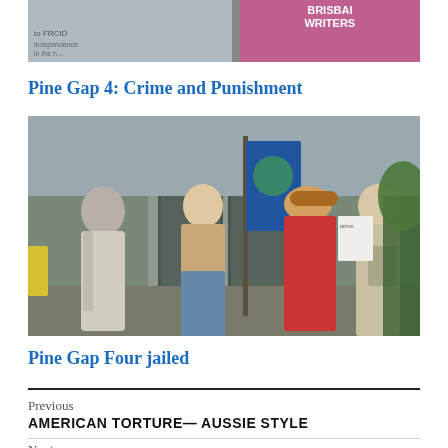[Figure (photo): Partial top photo showing protest banners including text referencing FRCID and 'Brisbane Writers']
Pine Gap 4: Crime and Punishment
[Figure (photo): Four people standing outside a building entrance, one holding a blue flag, in outdoor daytime setting]
Pine Gap Four jailed
Previous
AMERICAN TORTURE— AUSSIE STYLE
Next